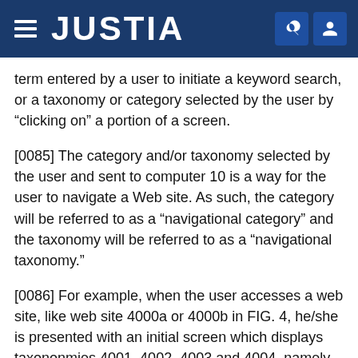JUSTIA
term entered by a user to initiate a keyword search, or a taxonomy or category selected by the user by “clicking on” a portion of a screen.
[0085] The category and/or taxonomy selected by the user and sent to computer 10 is a way for the user to navigate a Web site. As such, the category will be referred to as a “navigational category” and the taxonomy will be referred to as a “navigational taxonomy.”
[0086] For example, when the user accesses a web site, like web site 4000a or 4000b in FIG. 4, he/she is presented with an initial screen which displays taxononmies 4001, 4002, 4003 and 4004, namely “Price” 4001, “Product Type” 4002, “Brands” 4003 and “Promotions” 4004. The user may then insert a search